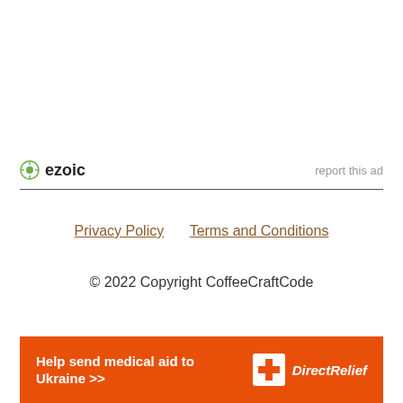[Figure (logo): Ezoic logo with green circular icon and bold text 'ezoic', with 'report this ad' text on the right]
Privacy Policy    Terms and Conditions
© 2022 Copyright CoffeeCraftCode
[Figure (infographic): Orange ad banner: 'Help send medical aid to Ukraine >>' with Direct Relief logo on the right]